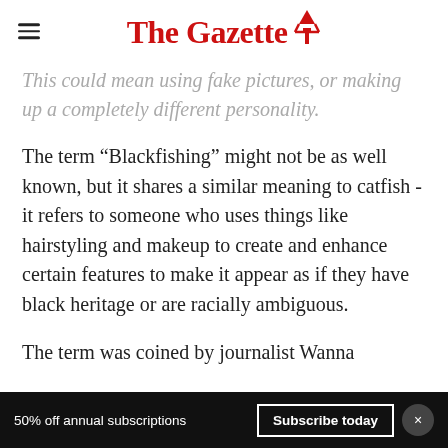The Gazette
This could mean using fake pictures, or making up a completely different personality.
The term “Blackfishing” might not be as well known, but it shares a similar meaning to catfish - it refers to someone who uses things like hairstyling and makeup to create and enhance certain features to make it appear as if they have black heritage or are racially ambiguous.
The term was coined by journalist Wanna
50% off annual subscriptions   Subscribe today   ×